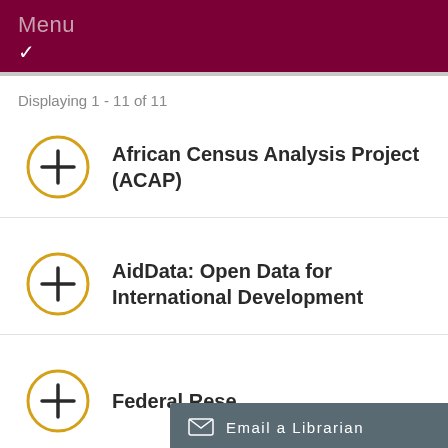Menu
Displaying 1 - 11 of 11
African Census Analysis Project (ACAP)
AidData: Open Data for International Development
Federal Rese...
Email a Librarian